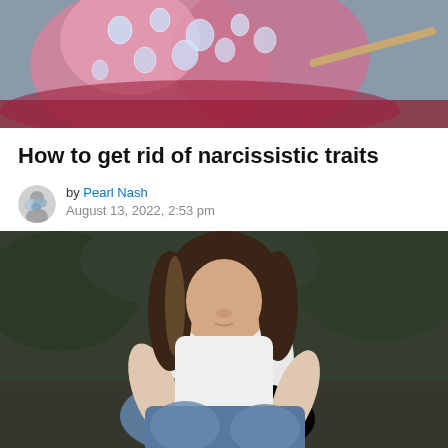[Figure (photo): Close-up photo of pink heart-shaped candy or soap with water droplets on it, with a wooden stick, on a gray background]
How to get rid of narcissistic traits
by Pearl Nash
August 13, 2022, 2:53 pm
[Figure (photo): Young woman with long hair sitting hugging her knees, wearing a white t-shirt and jeans, looking down with a sad or contemplative expression, outdoor blurred background]
[Figure (photo): Partial view of a reflective surface or water, light gray and white tones, bottom of page]